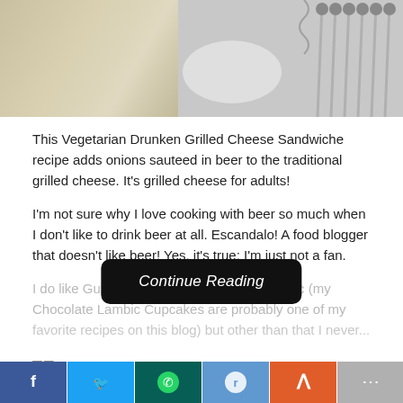[Figure (photo): Food photo showing a grilled cheese sandwich on a plate with silverware/utensils in the background, partially cropped at top]
This Vegetarian Drunken Grilled Cheese Sandwiche recipe adds onions sauteed in beer to the traditional grilled cheese. It's grilled cheese for adults!
I'm not sure why I love cooking with beer so much when I don't like to drink beer at all. Escandalo! A food blogger that doesn't like beer! Yes, it's true; I'm just not a fan.
I do like Guinness ... bic (my Chocolate Lambic Cupcakes are probably one of my favorite recipes on this blog) but other than that I never...
[Figure (screenshot): Continue Reading button overlay in black rounded rectangle with white italic text]
□□
[Figure (infographic): Social share buttons bar: Facebook, Twitter, WhatsApp, Reddit, StumbleUpon, and a grey share button]